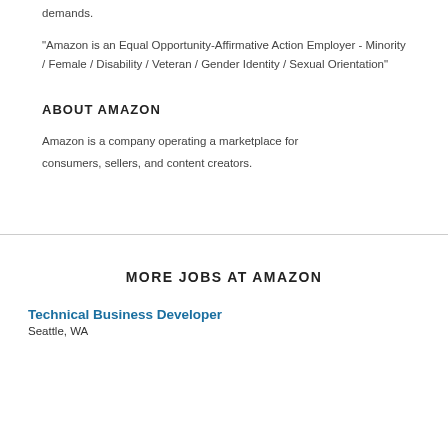demands.
"Amazon is an Equal Opportunity-Affirmative Action Employer - Minority / Female / Disability / Veteran / Gender Identity / Sexual Orientation"
ABOUT AMAZON
Amazon is a company operating a marketplace for consumers, sellers, and content creators.
MORE JOBS AT AMAZON
Technical Business Developer
Seattle, WA